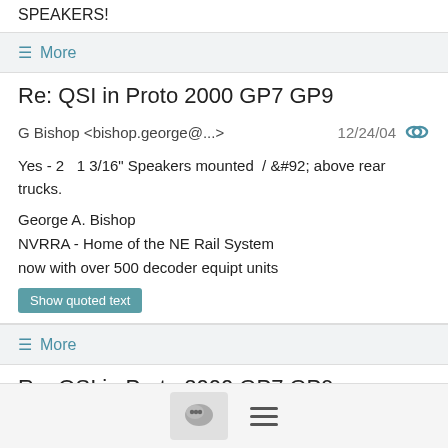SPEAKERS!
≡ More
Re: QSI in Proto 2000 GP7 GP9
G Bishop <bishop.george@...>  12/24/04
Yes - 2   1 3/16" Speakers mounted  / \ above rear trucks.
George A. Bishop
NVRRA - Home of the NE Rail System
now with over 500 decoder equipt units
Show quoted text
≡ More
Re: QSI in Proto 2000 GP7 GP9
Richard Dilley <rdilley@...>  12/24/04